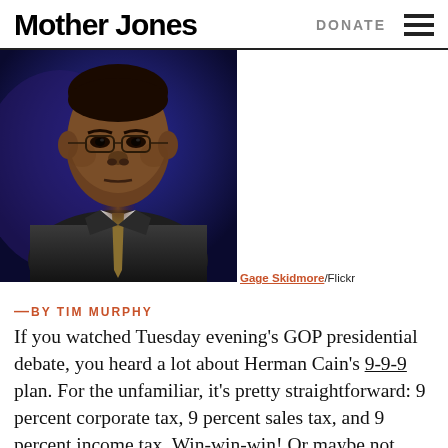Mother Jones | DONATE
[Figure (photo): Photo of Herman Cain in a suit with a tie against a dark blue background. Credit: Gage Skidmore/Flickr]
Gage Skidmore/Flickr
—BY TIM MURPHY
If you watched Tuesday evening's GOP presidential debate, you heard a lot about Herman Cain's 9-9-9 plan. For the unfamiliar, it's pretty straightforward: 9 percent corporate tax, 9 percent sales tax, and 9 percent income tax. Win-win-win! Or maybe not. Cain was asked at the debate to explain away the